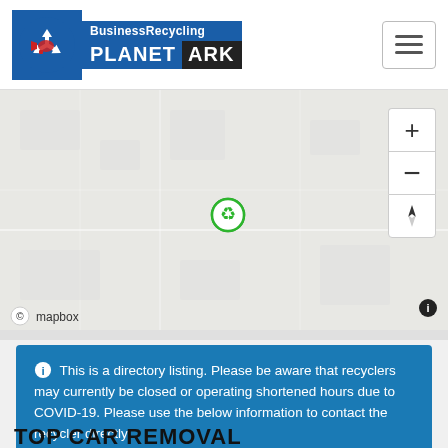[Figure (logo): BusinessRecycling Planet Ark logo with blue background and recycling arrow icon]
[Figure (map): Mapbox map showing a location with a green recycling marker icon, with zoom controls (+/-) and compass/navigation button on the right side]
This is a directory listing. Please be aware that recyclers may currently be closed or operating shortened hours due to COVID-19. Please use the below information to contact the recycler directly.
TOP CAR REMOVAL